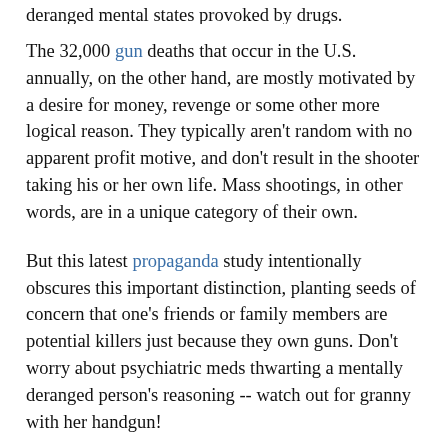deranged mental states provoked by drugs.
The 32,000 gun deaths that occur in the U.S. annually, on the other hand, are mostly motivated by a desire for money, revenge or some other more logical reason. They typically aren't random with no apparent profit motive, and don't result in the shooter taking his or her own life. Mass shootings, in other words, are in a unique category of their own.
But this latest propaganda study intentionally obscures this important distinction, planting seeds of concern that one's friends or family members are potential killers just because they own guns. Don't worry about psychiatric meds thwarting a mentally deranged person's reasoning -- watch out for granny with her handgun!
"Nearly every mass shooting incident in the last twenty